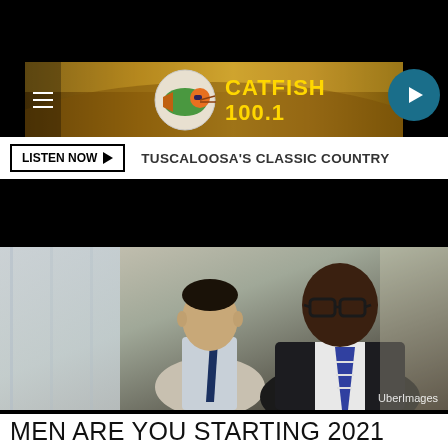[Figure (logo): Catfish 100.1 radio station logo with catfish mascot and yellow text on golden/brown background banner]
LISTEN NOW ▶   TUSCALOOSA'S CLASSIC COUNTRY
[Figure (photo): Two men in business attire sitting at a table, one Black man with glasses in foreground, one Hispanic man in background. Office setting with large windows. Credit: UberImages]
MEN ARE YOU STARTING 2021